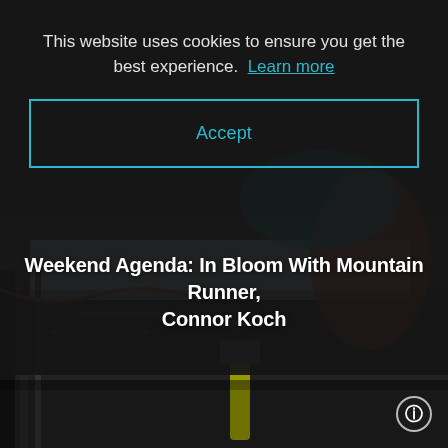[Figure (photo): Outdoor photo showing ski equipment, tools, and a person in an orange jacket working with gear on a snowy/dark surface. Used as background for an article titled 'Weekend Agenda: In Bloom With Mountain Runner, Connor Koch'.]
This website uses cookies to ensure you get the best experience.  Learn more
Accept
Weekend Agenda: In Bloom With Mountain Runner, Connor Koch